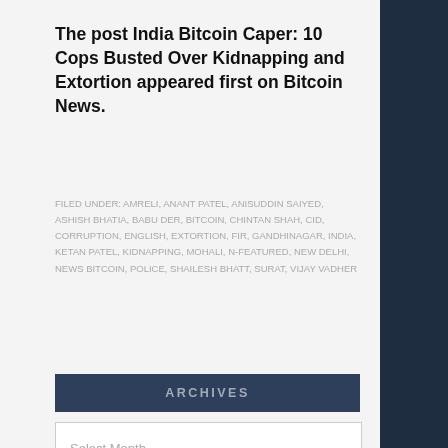The post India Bitcoin Caper: 10 Cops Busted Over Kidnapping and Extortion appeared first on Bitcoin News.
FILED UNDER: AMRELI, ANANT PATEL, ANISUDDIN SAIYED, ASHISH BHATIA, BABU DER, BITCOIN, CHINTAN SHAH, CID, CORRUPTION, ENGLISH, EXTORTION, FIR, GANDHINAGAR, INDIA, KETAN PATEL, KIDNAPPING, MOHALI, N-FEATURED, NEW DELHI, NEWS BITCOIN, POLICE, SHAILESH BHATT, SURAT, VIJAY VADHER
ARCHIVES
Select Month
RECENTS ARTICLES